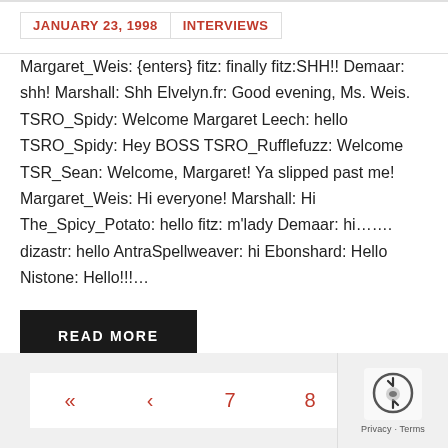JANUARY 23, 1998   INTERVIEWS
Margaret_Weis: {enters} fitz: finally fitz:SHH!! Demaar: shh! Marshall: Shh Elvelyn.fr: Good evening, Ms. Weis. TSRO_Spidy: Welcome Margaret Leech: hello TSRO_Spidy: Hey BOSS TSRO_Rufflefuzz: Welcome TSR_Sean: Welcome, Margaret! Ya slipped past me! Margaret_Weis: Hi everyone! Marshall: Hi The_Spicy_Potato: hello fitz: m'lady Demaar: hi……. dizastr: hello AntraSpellweaver: hi Ebonshard: Hello Nistone: Hello!!!…
READ MORE
« ‹ 7 8 9